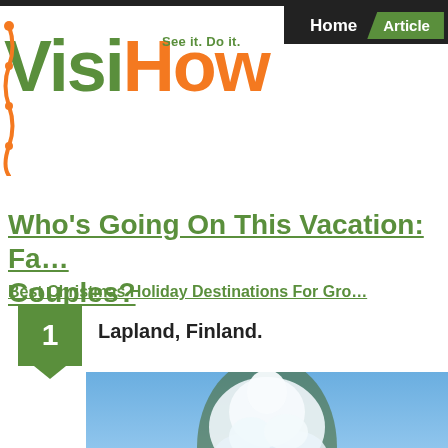[Figure (logo): VisiHow logo with tagline 'See it. Do it.' Green 'Visi' and orange 'How' text]
Home  Articles
Who's Going On This Vacation: Fa... Couples?
Best Christmas Holiday Destinations For Gro...
1. Lapland, Finland.
[Figure (photo): Snow-covered tree against blue winter sky in Lapland, Finland]